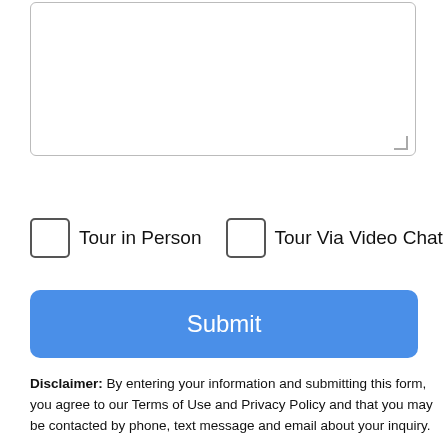[Figure (screenshot): Empty text area input box with resize handle at bottom right]
Tour in Person
Tour Via Video Chat
[Figure (screenshot): Blue Submit button]
Disclaimer: By entering your information and submitting this form, you agree to our Terms of Use and Privacy Policy and that you may be contacted by phone, text message and email about your inquiry.
[Figure (logo): MLS GRID logo with stacked colored squares]
Based on information submitted to the MLS GRID as of 2022-08-30T09:33:53.723 UTC. All data is obtained from various sources and may not have been verified by broker or MLS
[Figure (screenshot): Take a Tour button and Ask A Question button at bottom of page]